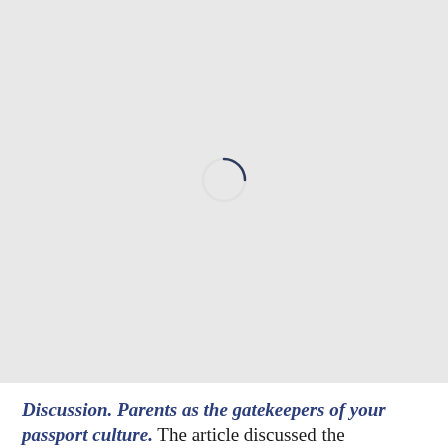[Figure (other): A loading spinner (circular progress indicator) centered on a light gray background, partially complete arc in dark navy/slate color suggesting page is loading.]
Discussion. Parents as the gatekeepers of your passport culture. The article discussed the